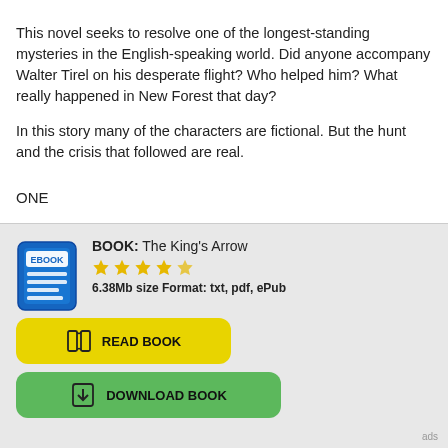This novel seeks to resolve one of the longest-standing mysteries in the English-speaking world. Did anyone accompany Walter Tirel on his desperate flight? Who helped him? What really happened in New Forest that day?
In this story many of the characters are fictional. But the hunt and the crisis that followed are real.
ONE
[Figure (infographic): Ebook advertisement box for 'The King's Arrow' showing ebook icon, star rating, file size/format info, and Read Book / Download Book buttons.]
ads